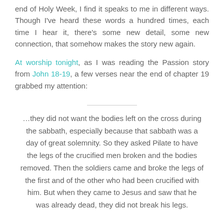end of Holy Week, I find it speaks to me in different ways. Though I've heard these words a hundred times, each time I hear it, there's some new detail, some new connection, that somehow makes the story new again.
At worship tonight, as I was reading the Passion story from John 18-19, a few verses near the end of chapter 19 grabbed my attention:
…they did not want the bodies left on the cross during the sabbath, especially because that sabbath was a day of great solemnity. So they asked Pilate to have the legs of the crucified men broken and the bodies removed. Then the soldiers came and broke the legs of the first and of the other who had been crucified with him. But when they came to Jesus and saw that he was already dead, they did not break his legs.